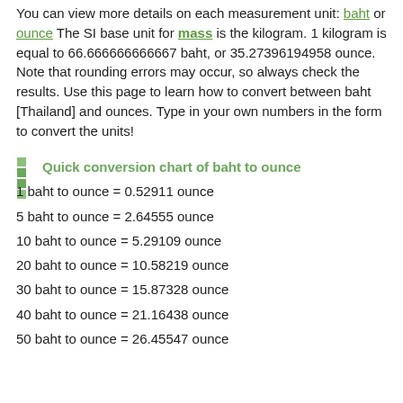You can view more details on each measurement unit: baht or ounce The SI base unit for mass is the kilogram. 1 kilogram is equal to 66.666666666667 baht, or 35.27396194958 ounce. Note that rounding errors may occur, so always check the results. Use this page to learn how to convert between baht [Thailand] and ounces. Type in your own numbers in the form to convert the units!
Quick conversion chart of baht to ounce
1 baht to ounce = 0.52911 ounce
5 baht to ounce = 2.64555 ounce
10 baht to ounce = 5.29109 ounce
20 baht to ounce = 10.58219 ounce
30 baht to ounce = 15.87328 ounce
40 baht to ounce = 21.16438 ounce
50 baht to ounce = 26.45547 ounce